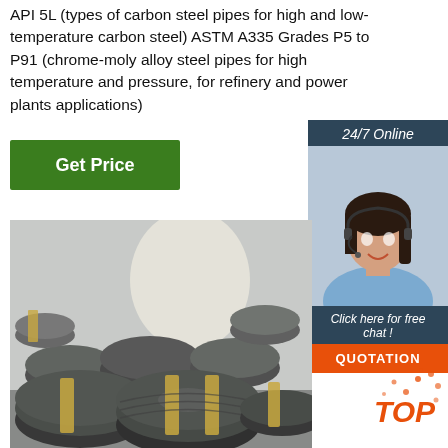API 5L (types of carbon steel pipes for high and low-temperature carbon steel) ASTM A335 Grades P5 to P91 (chrome-moly alloy steel pipes for high temperature and pressure, for refinery and power plants applications)
Get Price
[Figure (other): 24/7 Online customer service sidebar with a woman wearing a headset, 'Click here for free chat!' text, and an orange QUOTATION button]
[Figure (photo): Photo of coiled carbon steel wire rods/pipes bundled with yellow strapping tape in an industrial warehouse]
[Figure (other): TOP badge logo in orange with dotted circular design in bottom-right corner]